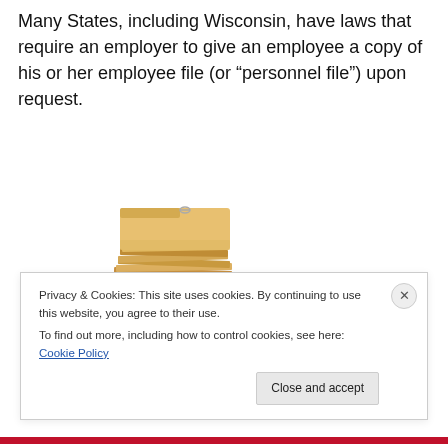Many States, including Wisconsin, have laws that require an employer to give an employee a copy of his or her employee file (or “personnel file”) upon request.
[Figure (illustration): A tall stack of manila file folders piled high, photographed against a white background.]
Privacy & Cookies: This site uses cookies. By continuing to use this website, you agree to their use.
To find out more, including how to control cookies, see here: Cookie Policy